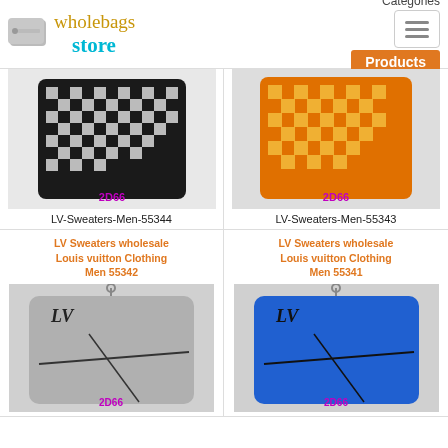[Figure (logo): Wholebags Store logo with tag icon, orange and teal text]
Categories
[Figure (other): Hamburger menu icon button]
Products
[Figure (photo): LV black and white checkered sweater with 2D66 watermark]
LV-Sweaters-Men-55344
[Figure (photo): LV orange checkered sweater with 2D66 watermark]
LV-Sweaters-Men-55343
LV Sweaters wholesale Louis vuitton Clothing Men 55342
[Figure (photo): LV grey sweater with LV logo and 2D66 watermark]
LV Sweaters wholesale Louis vuitton Clothing Men 55341
[Figure (photo): LV blue sweater with LV logo and 2D66 watermark]